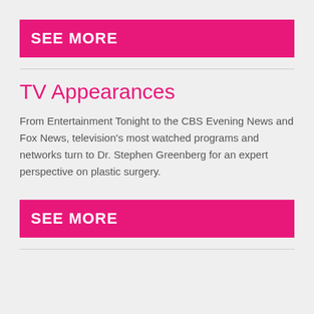SEE MORE
TV Appearances
From Entertainment Tonight to the CBS Evening News and Fox News, television's most watched programs and networks turn to Dr. Stephen Greenberg for an expert perspective on plastic surgery.
SEE MORE